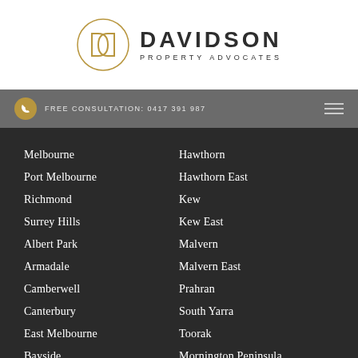[Figure (logo): Davidson Property Advocates logo with circular D symbol in gold and company name in dark serif text]
FREE CONSULTATION: 0417 391 987
Melbourne
Port Melbourne
Richmond
Surrey Hills
Albert Park
Armadale
Camberwell
Canterbury
East Melbourne
Bayside
Hawthorn
Hawthorn East
Kew
Kew East
Malvern
Malvern East
Prahran
South Yarra
Toorak
Mornington Peninsula